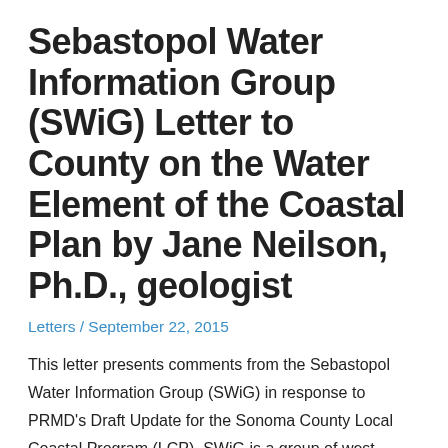Sebastopol Water Information Group (SWiG) Letter to County on the Water Element of the Coastal Plan by Jane Neilson, Ph.D., geologist
Letters / September 22, 2015
This letter presents comments from the Sebastopol Water Information Group (SWiG) in response to PRMD's Draft Update for the Sonoma County Local Coastal Program (LCP). SWiG is a group of west Sonoma County residents and well owners who have hydrological and geological expertise. SWiG collects accurate scientific information on water supplies, water quality, land use …